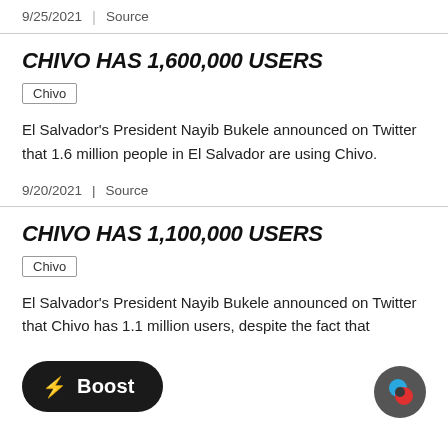9/25/2021 | Source
CHIVO HAS 1,600,000 USERS
Chivo
El Salvador's President Nayib Bukele announced on Twitter that 1.6 million people in El Salvador are using Chivo.
9/20/2021 | Source
CHIVO HAS 1,100,000 USERS
Chivo
El Salvador's President Nayib Bukele announced on Twitter that Chivo has 1.1 million users, despite the fact that